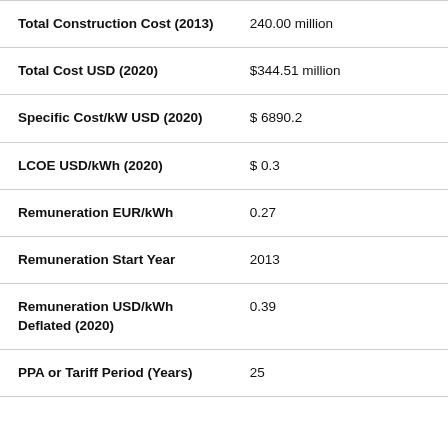| Parameter | Value |
| --- | --- |
| Total Construction Cost (2013) | 240.00 million |
| Total Cost USD (2020) | $344.51 million |
| Specific Cost/kW USD (2020) | $ 6890.2 |
| LCOE USD/kWh (2020) | $ 0.3 |
| Remuneration EUR/kWh | 0.27 |
| Remuneration Start Year | 2013 |
| Remuneration USD/kWh Deflated (2020) | 0.39 |
| PPA or Tariff Period (Years) | 25 |